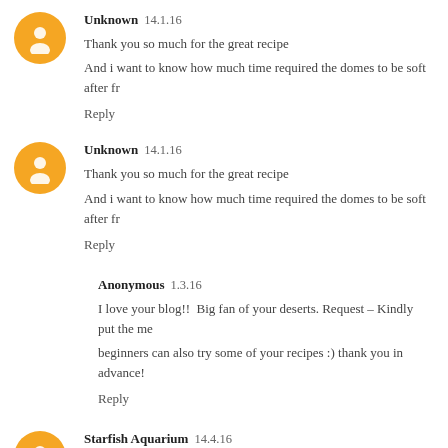Unknown  14.1.16
Thank you so much for the great recipe
And i want to know how much time required the domes to be soft after fr
Reply
Unknown  14.1.16
Thank you so much for the great recipe
And i want to know how much time required the domes to be soft after fr
Reply
Anonymous  1.3.16
I love your blog!!  Big fan of your deserts. Request – Kindly put the me beginners can also try some of your recipes :) thank you in advance!
Reply
Starfish Aquarium  14.4.16
After eating this dessert at a restaurant I've been trying to make it for